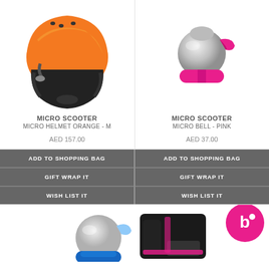[Figure (photo): Orange micro scooter helmet, side view]
[Figure (photo): Pink micro scooter bell, silver top]
MICRO SCOOTER
MICRO HELMET ORANGE - M
MICRO SCOOTER
MICRO BELL - PINK
AED 157.00
AED 37.00
ADD TO SHOPPING BAG
ADD TO SHOPPING BAG
GIFT WRAP IT
GIFT WRAP IT
WISH LIST IT
WISH LIST IT
[Figure (photo): Blue and silver micro bell, partial view at bottom left]
[Figure (photo): Black and pink protective pads set with pink brand logo circle, bottom right]